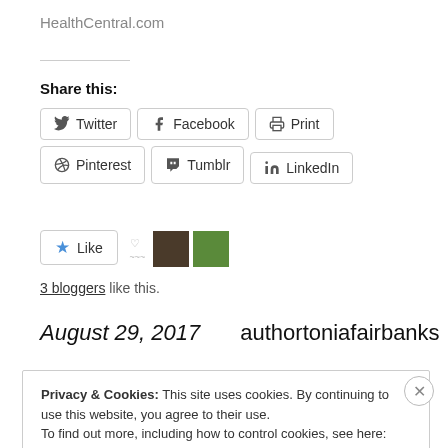HealthCentral.com
Share this:
Twitter
Facebook
Print
Pinterest
Tumblr
LinkedIn
3 bloggers like this.
August 29, 2017   authortoniafairbanks
Privacy & Cookies: This site uses cookies. By continuing to use this website, you agree to their use.
To find out more, including how to control cookies, see here: Cookie Policy